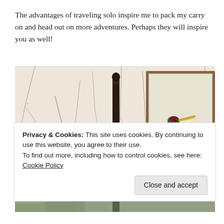The advantages of traveling solo inspire me to pack my carry on and head out on more adventures. Perhaps they will inspire you as well!
[Figure (photo): Interior of a bedroom with ornate floral/branch wallpaper in cream and grey tones, a dark wooden four-poster bed post visible in the center, and a framed botanical illustration of a heron/crane bird on the right wall.]
Privacy & Cookies: This site uses cookies. By continuing to use this website, you agree to their use.
To find out more, including how to control cookies, see here: Cookie Policy